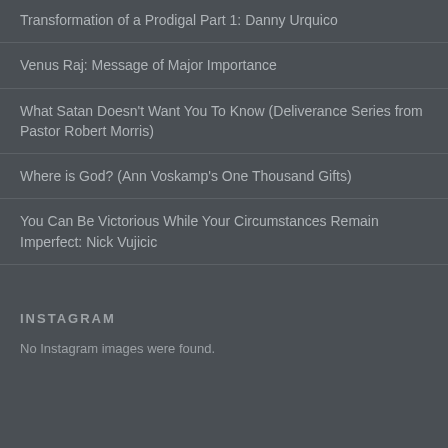Transformation of a Prodigal Part 1: Danny Urquico
Venus Raj: Message of Major Importance
What Satan Doesn't Want You To Know (Deliverance Series from Pastor Robert Morris)
Where is God? (Ann Voskamp's One Thousand Gifts)
You Can Be Victorious While Your Circumstances Remain Imperfect: Nick Vujicic
INSTAGRAM
No Instagram images were found.